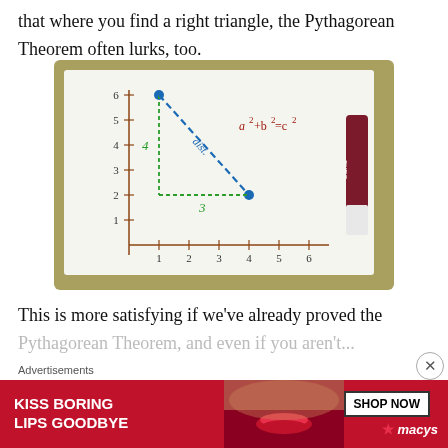that where you find a right triangle, the Pythagorean Theorem often lurks, too.
[Figure (photo): Whiteboard showing a coordinate grid with two plotted points connected by a dashed blue diagonal line (hypotenuse), a green right-angle path showing legs labeled '4' (vertical) and '3' (horizontal), and the formula a² + b² = c² written in red marker. A dark red Expo marker is on the right side.]
This is more satisfying if we've already proved the Pythagorean Theorem, and even if you aren't...
Advertisements
[Figure (photo): Advertisement banner: red background with 'KISS BORING LIPS GOODBYE' in white bold text, a woman's lips photo, and 'SHOP NOW / macys' button on the right.]